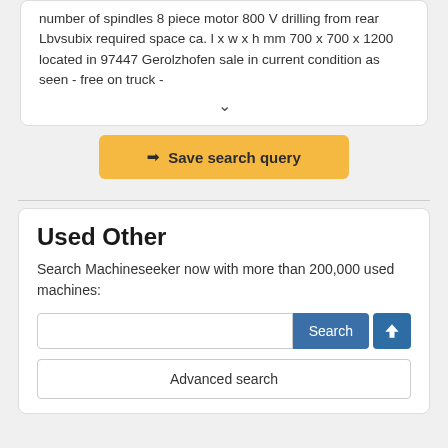number of spindles 8 piece motor 800 V drilling from rear Lbvsubix required space ca. l x w x h mm 700 x 700 x 1200 located in 97447 Gerolzhofen sale in current condition as seen - free on truck -
▾
⇒ Save search query
Used Other
Search Machineseeker now with more than 200,000 used machines:
Search
Advanced search